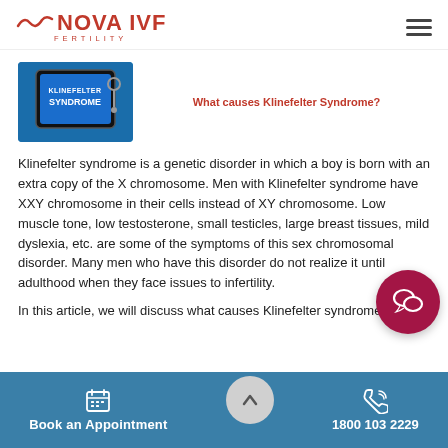NOVA IVF FERTILITY
[Figure (photo): A tablet or screen displaying 'KLINEFELTER SYNDROME' text in bold white letters on blue background, with a stethoscope visible.]
What causes Klinefelter Syndrome?
Klinefelter syndrome is a genetic disorder in which a boy is born with an extra copy of the X chromosome. Men with Klinefelter syndrome have XXY chromosome in their cells instead of XY chromosome. Low muscle tone, low testosterone, small testicles, large breast tissues, mild dyslexia, etc. are some of the symptoms of this sex chromosomal disorder. Many men who have this disorder do not realize it until adulthood when they face issues to infertility.
In this article, we will discuss what causes Klinefelter syndrome.
Book an Appointment | 1800 103 2229